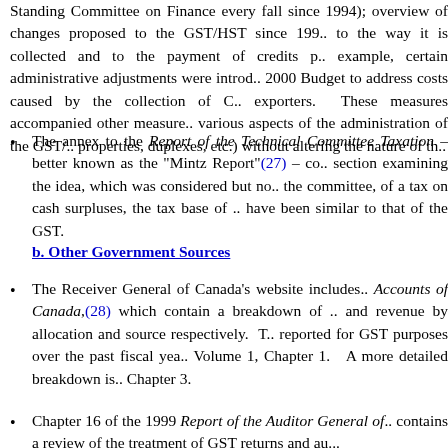Standing Committee on Finance every fall since 1994); overview of changes proposed to the GST/HST since 199... to the way it is collected and to the payment of credits p... example, certain administrative adjustments were intro... 2000 Budget to address costs caused by the collection of C... exporters. These measures accompanied other measure... various aspects of the administration of the GST/... properties, duplexes, etc.) without altering the nature of th...
The annex to the Report of the Technical Committee... Taxation – better known as the "Mintz Report"(27) – co... section examining the idea, which was considered but no... the committee, of a tax on cash surpluses, the tax base of... have been similar to that of the GST.
b. Other Government Sources
The Receiver General of Canada's website includes... Accounts of Canada,(28) which contain a breakdown of... and revenue by allocation and source respectively. T... reported for GST purposes over the past fiscal yea... Volume 1, Chapter 1. A more detailed breakdown is... Chapter 3.
Chapter 16 of the 1999 Report of the Auditor General of... contains a review of the treatment of GST returns and au...